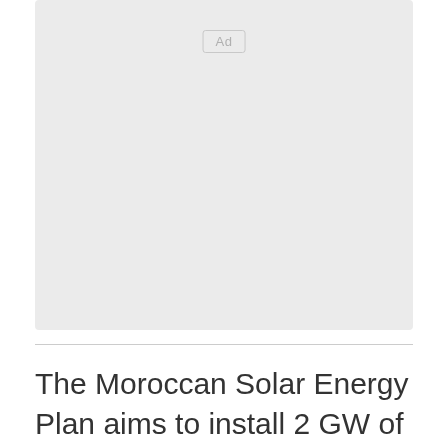[Figure (other): Advertisement placeholder box with 'Ad' label]
The Moroccan Solar Energy Plan aims to install 2 GW of solar power by 2020. On completion, the concentrated solar power